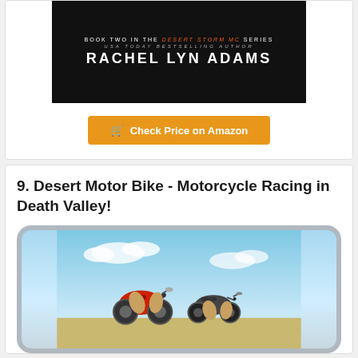[Figure (illustration): Book cover for Rachel Lyn Adams novel, dark background, showing author name and series info (Desert Storm MC Series)]
Check Price on Amazon
9. Desert Motor Bike - Motorcycle Racing in Death Valley!
[Figure (screenshot): Game app screenshot showing cartoon motorcycles racing in a desert/Death Valley setting with blue sky background]